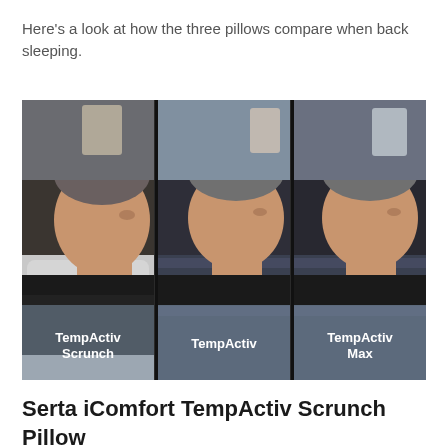Here's a look at how the three pillows compare when back sleeping.
[Figure (photo): Side-by-side comparison of a person sleeping on their back using three different pillows: TempActiv Scrunch (left), TempActiv (middle), and TempActiv Max (right). Each panel shows the person's head and neck profile with the respective pillow visible.]
Serta iComfort TempActiv Scrunch Pillow